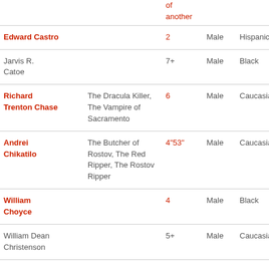| Name | Alias | Victims | Sex | Race |
| --- | --- | --- | --- | --- |
| Edward Castro |  | 2 | Male | Hispanic |
| Jarvis R. Catoe |  | 7+ | Male | Black |
| Richard Trenton Chase | The Dracula Killer, The Vampire of Sacramento | 6 | Male | Caucasian |
| Andrei Chikatilo | The Butcher of Rostov, The Red Ripper, The Rostov Ripper | 4"53" | Male | Caucasian |
| William Choyce |  | 4 | Male | Black |
| William Dean Christenson |  | 5+ | Male | Caucasian |